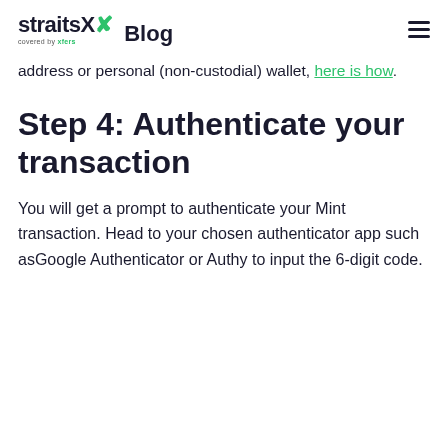straitsX Blog
address or personal (non-custodial) wallet, here is how.
Step 4: Authenticate your transaction
You will get a prompt to authenticate your Mint transaction. Head to your chosen authenticator app such asGoogle Authenticator or Authy to input the 6-digit code.